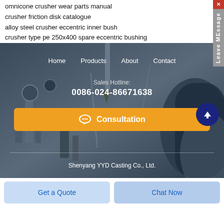omnicone crusher wear parts manual
crusher friction disk catalogue
alloy steel crusher eccentric inner bush
crusher type pe 250x400 spare eccentric bushing
[Figure (photo): Industrial machinery background image showing metal parts, drills, and mechanical components in dark blue-gray tones, with navigation bar (Home, Products, About, Contact), Sales Hotline 0086-024-86671638, orange Consultation button, horizontal divider, and company name Shenyang YYD Casting Co., Ltd.]
Get a Quote
Chat Now